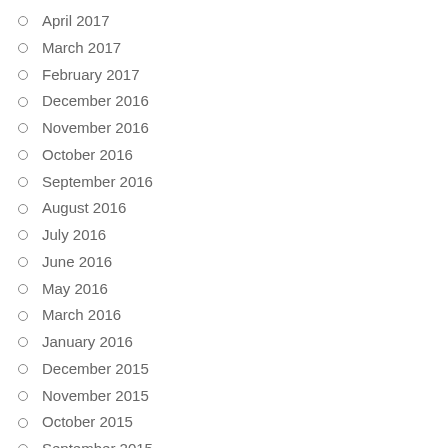April 2017
March 2017
February 2017
December 2016
November 2016
October 2016
September 2016
August 2016
July 2016
June 2016
May 2016
March 2016
January 2016
December 2015
November 2015
October 2015
September 2015
August 2015